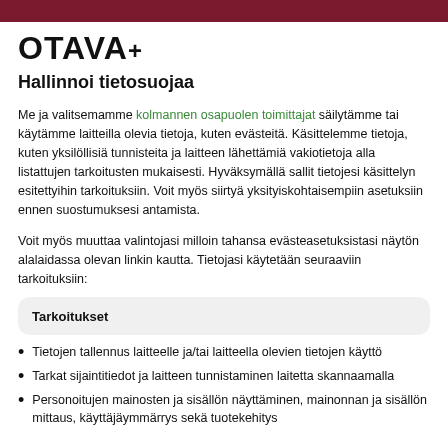OTAVA
Hallinnoi tietosuojaa
Me ja valitsemamme kolmannen osapuolen toimittajat säilytämme tai käytämme laitteilla olevia tietoja, kuten evästeitä. Käsittelemme tietoja, kuten yksilöllisiä tunnisteita ja laitteen lähettämiä vakiotietoja alla listattujen tarkoitusten mukaisesti. Hyväksymällä sallit tietojesi käsittelyn esitettyihin tarkoituksiin. Voit myös siirtyä yksityiskohtaisempiin asetuksiin ennen suostumuksesi antamista.
Voit myös muuttaa valintojasi milloin tahansa evästeasetuksistasi näytön alalaidassa olevan linkin kautta. Tietojasi käytetään seuraaviin tarkoituksiin:
| Tarkoitukset |
| --- |
Tietojen tallennus laitteelle ja/tai laitteella olevien tietojen käyttö
Tarkat sijaintitiedot ja laitteen tunnistaminen laitetta skannaamalla
Personoitujen mainosten ja sisällön näyttäminen, mainonnan ja sisällön mittaus, käyttäjäymmärrys sekä tuotekehitys